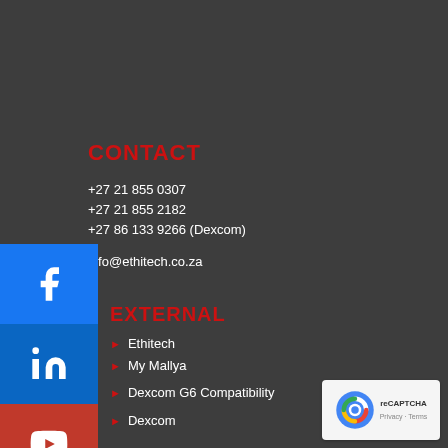CONTACT
+27 21 855 0307
+27 21 855 2182
+27 86 133 9266 (Dexcom)
info@ethitech.co.za
EXTERNAL
Ethitech
My Mallya
Dexcom G6 Compatibility
Dexcom
POLICIES
View our Privacy Policy